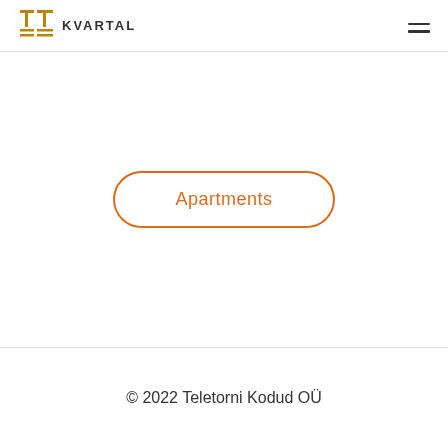TT KVARTAL [logo] [hamburger menu]
Apartments
© 2022 Teletorni Kodud OÜ